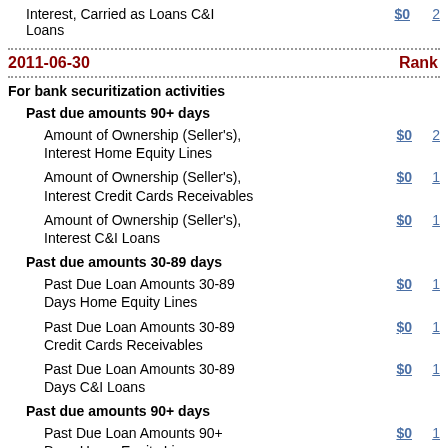Interest, Carried as Loans C&I Loans   $0   2
2011-06-30   Rank
For bank securitization activities
Past due amounts 90+ days
Amount of Ownership (Seller's), Interest Home Equity Lines   $0   2
Amount of Ownership (Seller's), Interest Credit Cards Receivables   $0   1
Amount of Ownership (Seller's), Interest C&I Loans   $0   1
Past due amounts 30-89 days
Past Due Loan Amounts 30-89 Days Home Equity Lines   $0   1
Past Due Loan Amounts 30-89 Credit Cards Receivables   $0   1
Past Due Loan Amounts 30-89 Days C&I Loans   $0   1
Past due amounts 90+ days
Past Due Loan Amounts 90+ Days Home Equity Lines   $0   1